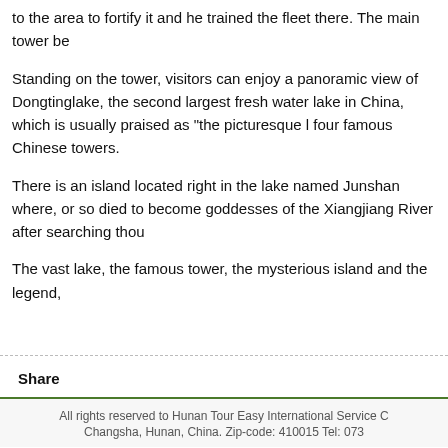to the area to fortify it and he trained the fleet there. The main tower be
Standing on the tower, visitors can enjoy a panoramic view of Dongting fresh water lake in China, which is usually praised as "the picturesque l four famous Chinese towers.
There is an island located right in the lake named Junshan where, or so died to become goddesses of the Xiangjiang River after searching thou
The vast lake, the famous tower, the mysterious island and the legend,
Share
All rights reserved to Hunan Tour Easy International Service C
Changsha, Hunan, China. Zip-code: 410015 Tel: 073